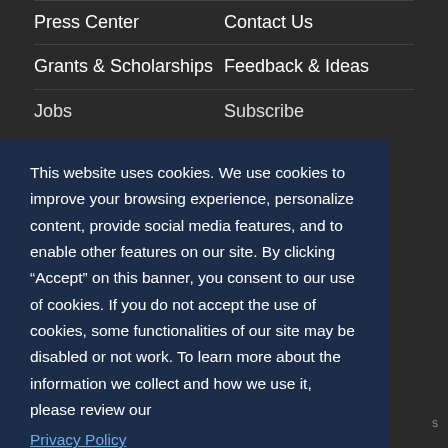Press Center
Contact Us
Grants & Scholarships
Feedback & Ideas
Jobs
Subscribe
This website uses cookies. We use cookies to improve your browsing experience, personalize content, provide social media features, and to enable other features on our site. By clicking “Accept” on this banner, you consent to our use of cookies. If you do not accept the use of cookies, some functionalities of our site may be disabled or not work. To learn more about the information we collect and how we use it, please review our
Privacy Policy
Decline
Accept